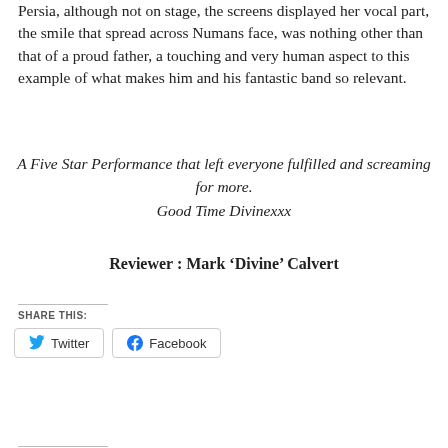Persia, although not on stage, the screens displayed her vocal part, the smile that spread across Numans face, was nothing other than that of a proud father, a touching and very human aspect to this example of what makes him and his fantastic band so relevant.
A Five Star Performance that left everyone fulfilled and screaming for more.
Good Time Divinexxx
Reviewer : Mark ‘Divine’ Calvert
SHARE THIS:
Twitter  Facebook